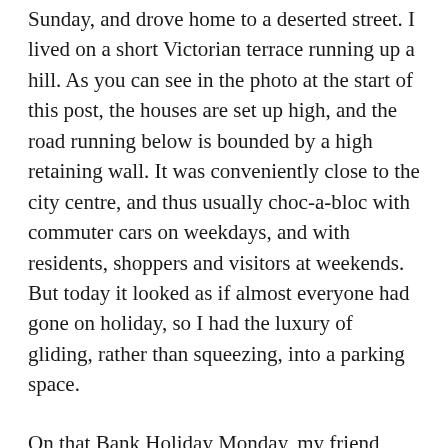Sunday, and drove home to a deserted street. I lived on a short Victorian terrace running up a hill. As you can see in the photo at the start of this post, the houses are set up high, and the road running below is bounded by a high retaining wall. It was conveniently close to the city centre, and thus usually choc-a-bloc with commuter cars on weekdays, and with residents, shoppers and visitors at weekends. But today it looked as if almost everyone had gone on holiday, so I had the luxury of gliding, rather than squeezing, into a parking space.
On that Bank Holiday Monday, my friend Erica came over from Bristol for the day, and when she left, I walked with her to her car. I could see immediately that something was up. Her car was parked safely at the top of the hill, but my